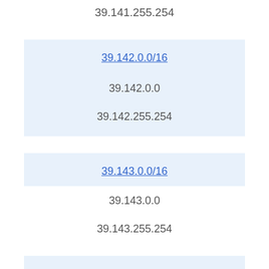39.141.255.254
39.142.0.0/16
39.142.0.0
39.142.255.254
39.143.0.0/16
39.143.0.0
39.143.255.254
39.144.0.0/16
39.144.0.0